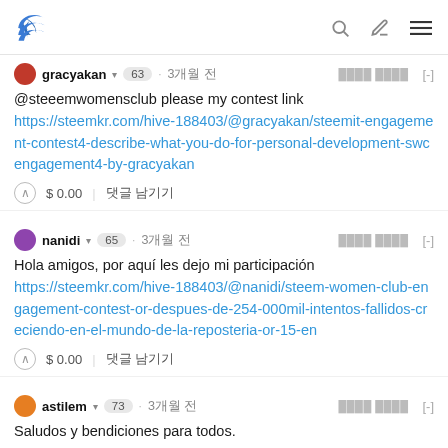Steem logo header with search, edit, and menu icons
gracyakan · 63 · 3개월 전
@steeemwomensclub please my contest link https://steemkr.com/hive-188403/@gracyakan/steemit-engagement-contest4-describe-what-you-do-for-personal-development-swcengagement4-by-gracyakan
$ 0.00 | 댓글 남기기
nanidi · 65 · 3개월 전
Hola amigos, por aquí les dejo mi participación https://steemkr.com/hive-188403/@nanidi/steem-women-club-engagement-contest-or-despues-de-254-000mil-intentos-fallidos-creciendo-en-el-mundo-de-la-reposteria-or-15-en
$ 0.00 | 댓글 남기기
astilem · 73 · 3개월 전
Saludos y bendiciones para todos.